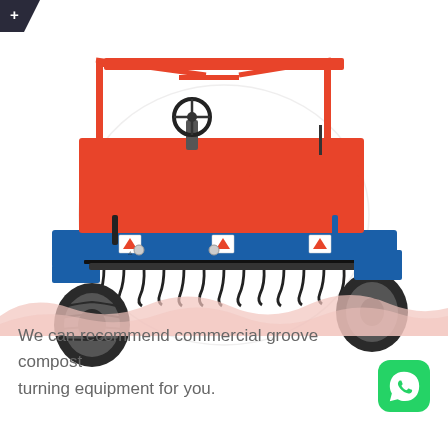[Figure (photo): A self-propelled groove compost turner machine with a red body and blue frame, featuring a steering wheel under a red canopy frame, multiple black tines/rotors underneath, and rubber tires. A faint watermark logo is visible in the background.]
[Figure (illustration): A decorative pink/salmon wavy banner or divider shape at the bottom of the image area.]
We can recommend commercial groove compost turning equipment for you.